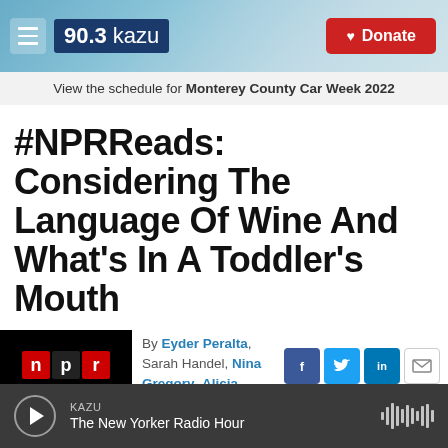[Figure (screenshot): KAZU 90.3 radio station website header banner with logo and Donate button]
View the schedule for Monterey County Car Week 2022
#NPRReads: Considering The Language Of Wine And What's In A Toddler's Mouth
By Eyder Peralta, Sarah Handel, Nina Gregory, Alicia Cypress, Danielle
[Figure (logo): NPR logo — n p r letters in red and black squares]
[Figure (infographic): Social share icons: Facebook, Twitter, LinkedIn, Email]
KAZU
The New Yorker Radio Hour